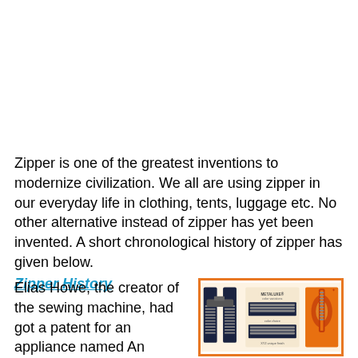Zipper is one of the greatest inventions to modernize civilization. We all are using zipper in our everyday life in clothing, tents, luggage etc. No other alternative instead of zipper has yet been invented. A short chronological history of zipper has given below.
Zipper History
Elias Howe, the creator of the sewing machine, had got a patent for an appliance named An Automatic Continuous Clothing Closure In
[Figure (photo): A photo showing a dark navy/black zipper open at the bottom, alongside color swatches/samples of zipper tape in dark colors labeled METALUXE color variations, and a decorative orange and red patterned fabric with a zipper, all inside an orange-bordered box.]